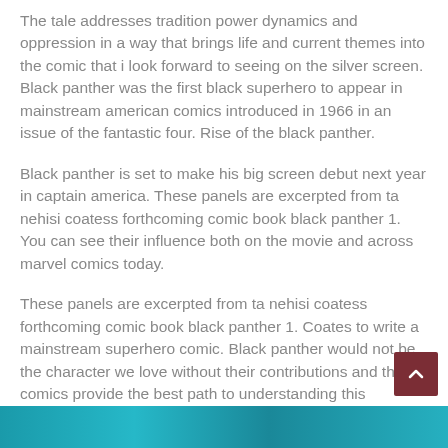The tale addresses tradition power dynamics and oppression in a way that brings life and current themes into the comic that i look forward to seeing on the silver screen. Black panther was the first black superhero to appear in mainstream american comics introduced in 1966 in an issue of the fantastic four. Rise of the black panther.
Black panther is set to make his big screen debut next year in captain america. These panels are excerpted from ta nehisi coatess forthcoming comic book black panther 1. You can see their influence both on the movie and across marvel comics today.
These panels are excerpted from ta nehisi coatess forthcoming comic book black panther 1. Coates to write a mainstream superhero comic. Black panther would not be the character we love without their contributions and their comics provide the best path to understanding this incredible hero.
[Figure (photo): Partial bottom strip of a colorful comic or image in teal/cyan tones, partially visible at the bottom of the page.]